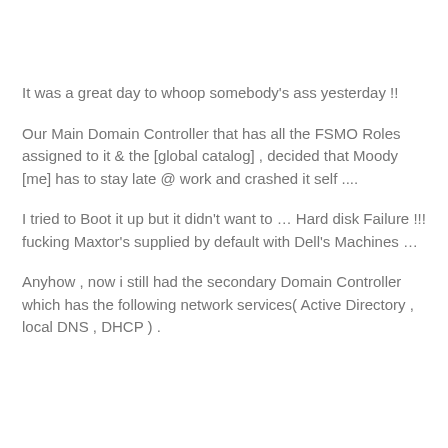It was a great day to whoop somebody's ass yesterday !!
Our Main Domain Controller that has all the FSMO Roles assigned to it & the [global catalog] , decided that Moody [me] has to stay late @ work and crashed it self ....
I tried to Boot it up but it didn't want to … Hard disk Failure !!! fucking Maxtor's supplied by default with Dell's Machines …
Anyhow , now i still had the secondary Domain Controller which has the following network services( Active Directory , local DNS , DHCP ) .